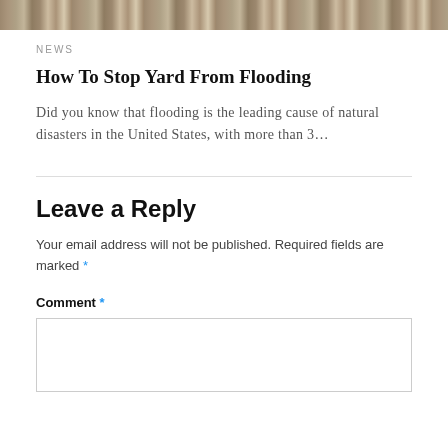[Figure (photo): Top portion of a flood/water scene image, showing brownish water and debris]
NEWS
How To Stop Yard From Flooding
Did you know that flooding is the leading cause of natural disasters in the United States, with more than 3…
Leave a Reply
Your email address will not be published. Required fields are marked *
Comment *